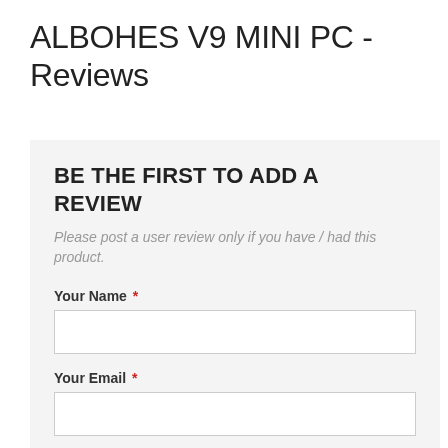ALBOHES V9 MINI PC - Reviews
BE THE FIRST TO ADD A REVIEW
Please post a user review only if you have / had this product.
Your Name *
Your Email *
Review Title *